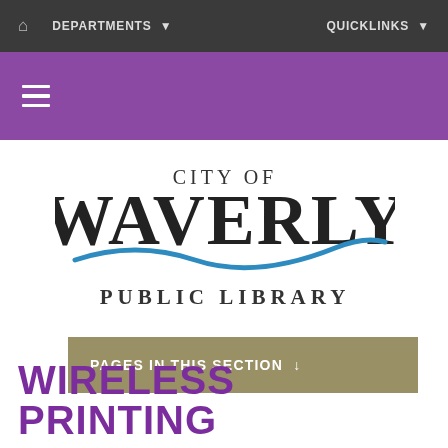DEPARTMENTS   QUICKLINKS
[Figure (screenshot): Purple navigation bar with hamburger menu icon (three horizontal white lines)]
[Figure (logo): City of Waverly Public Library logo with blue wave swoosh graphic under WAVERLY text]
PAGES IN THIS SECTION ↧
WIRELESS PRINTING